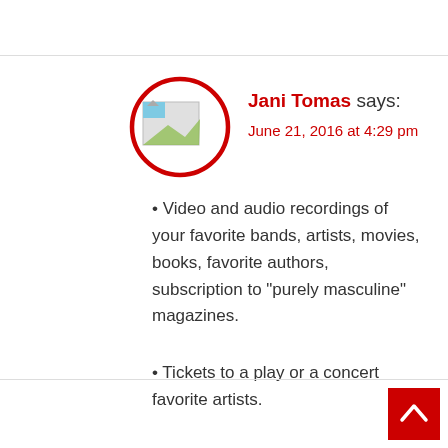[Figure (illustration): Avatar circle with red border containing a small landscape thumbnail image]
Jani Tomas says:
June 21, 2016 at 4:29 pm
• Video and audio recordings of your favorite bands, artists, movies, books, favorite authors, subscription to "purely masculine" magazines.
• Tickets to a play or a concert favorite artists.
REPLY
[Figure (illustration): Scroll-to-top button, red square with white upward arrow]